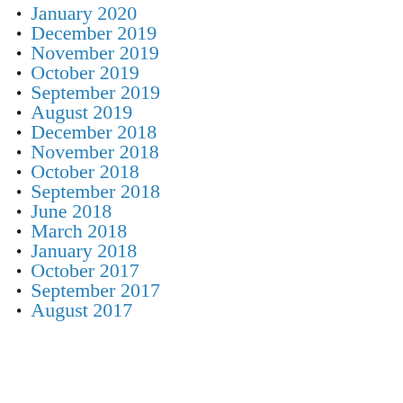January 2020
December 2019
November 2019
October 2019
September 2019
August 2019
December 2018
November 2018
October 2018
September 2018
June 2018
March 2018
January 2018
October 2017
September 2017
August 2017